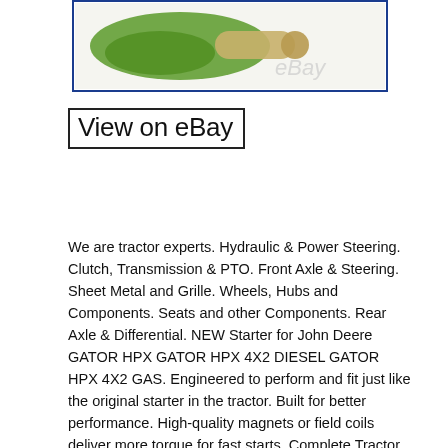[Figure (photo): Partial photo of a green and tan/beige tractor part on a light background, with 'ebay' watermark text visible in gray]
View on eBay
We are tractor experts. Hydraulic & Power Steering. Clutch, Transmission & PTO. Front Axle & Steering. Sheet Metal and Grille. Wheels, Hubs and Components. Seats and other Components. Rear Axle & Differential. NEW Starter for John Deere GATOR HPX GATOR HPX 4X2 DIESEL GATOR HPX 4X2 GAS. Engineered to perform and fit just like the original starter in the tractor. Built for better performance. High-quality magnets or field coils deliver more torque for fast starts. Complete Tractor Starters Complete Tractor keeps you working in the field with engineer-tested electrical components for tractors. We work directly with factories to ensure each component is manufactured to our exacting quality control standards. But because there is no middleman, we can offer these exceptional-quality electrical components at low factory direct prices. With